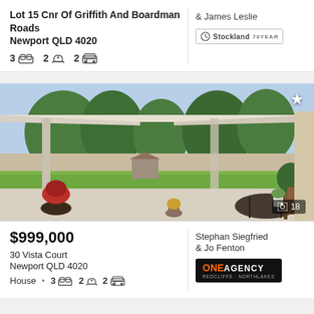Lot 15 Cnr Of Griffith And Boardman Roads Newport QLD 4020
3 bed 2 bath 2 garage
& James Leslie
[Figure (logo): Stockland logo with partner brand]
[Figure (photo): Outdoor patio/alfresco area of a house with garden, lawn, shed, and outdoor furniture. Contains star icon and image count of 18.]
$999,000
30 Vista Court
Newport QLD 4020
House · 3 bed 2 bath 2 garage
Stephan Siegfried & Jo Fenton
[Figure (logo): ONE AGENCY logo - black background with orange ONE text]